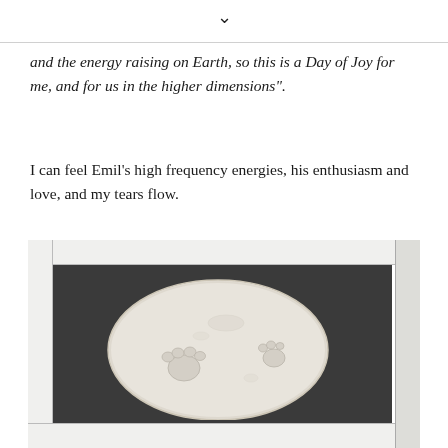❯
and the energy raising on Earth, so this is a Day of Joy for me, and for us in the higher dimensions".
I can feel Emil's high frequency energies, his enthusiasm and love, and my tears flow.
[Figure (photo): A white framed shadow box displaying a round plaster cast with animal paw prints impressed into it, mounted against a dark background.]